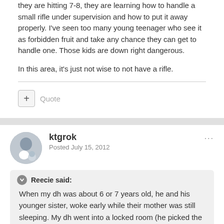they are hitting 7-8, they are learning how to handle a small rifle under supervision and how to put it away properly. I've seen too many young teenager who see it as forbidden fruit and take any chance they can get to handle one. Those kids are down right dangerous.
In this area, it's just not wise to not have a rifle.
Quote
ktgrok
Posted July 15, 2012
Reecie said:
When my dh was about 6 or 7 years old, he and his younger sister, woke early while their mother was still sleeping. My dh went into a locked room (he picked the lock) and took all the firearms out of a locked cabinet, he picked that lock too. Then he picked the lock on another locked box and removed all the